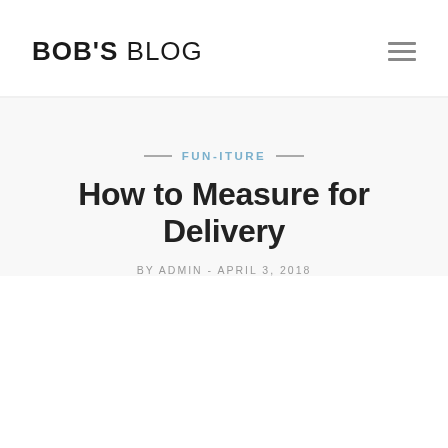BOB'S BLOG
FUN-ITURE
How to Measure for Delivery
BY ADMIN - APRIL 3, 2018